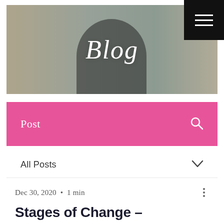[Figure (photo): Hero banner image showing a woman with blonde hair smiling, wearing a black turtleneck, with a plant and curtains in the background. The word 'Blog' is overlaid in white italic script.]
Post
All Posts
Dec 30, 2020  •  1 min
Stages of Change – Commitment